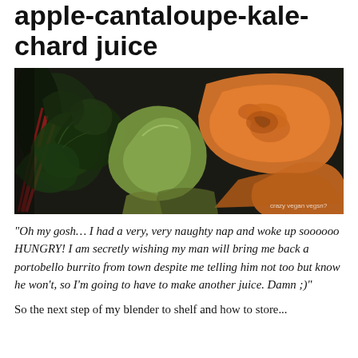apple-cantaloupe-kale-chard juice
[Figure (photo): Close-up photo of fresh produce including kale, chard with red stems, apple slices, and cantaloupe pieces arranged together]
“Oh my gosh… I had a very, very naughty nap and woke up soooooo HUNGRY! I am secretly wishing my man will bring me back a portobello burrito from town despite me telling him not too but know he won’t, so I’m going to have to make another juice. Damn ;)”
So the next step of my blender to shelf and how to store...